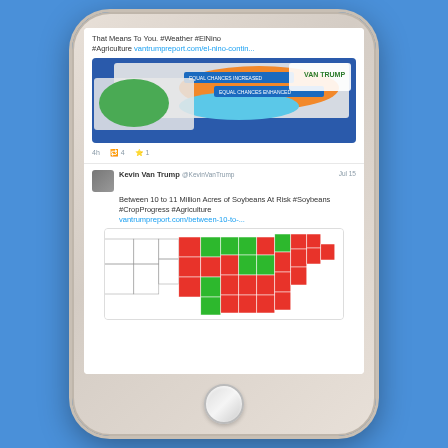[Figure (screenshot): A smartphone (iPhone in blue case) displaying a Twitter feed showing tweets by Kevin Van Trump about agriculture topics. The first tweet shows weather/El Nino maps of the US. The second tweet reads 'Between 10 to 11 Million Acres of Soybeans At Risk #Soybeans #CropProgress #Agriculture vantrumpreport.com/between-10-to-...' with a US map showing states colored red and green.]